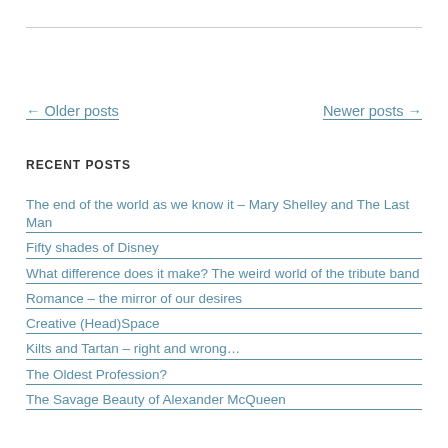← Older posts
Newer posts →
RECENT POSTS
The end of the world as we know it – Mary Shelley and The Last Man
Fifty shades of Disney
What difference does it make? The weird world of the tribute band
Romance – the mirror of our desires
Creative (Head)Space
Kilts and Tartan – right and wrong…
The Oldest Profession?
The Savage Beauty of Alexander McQueen